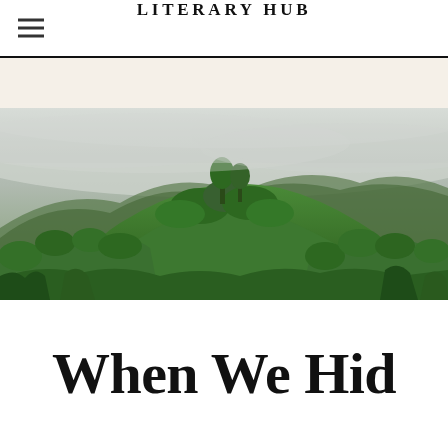LITERARY HUB
[Figure (photo): A lush tropical rainforest hillside covered with dense green trees and vegetation, with mist and clouds visible above the treetops in the background.]
When We Hid